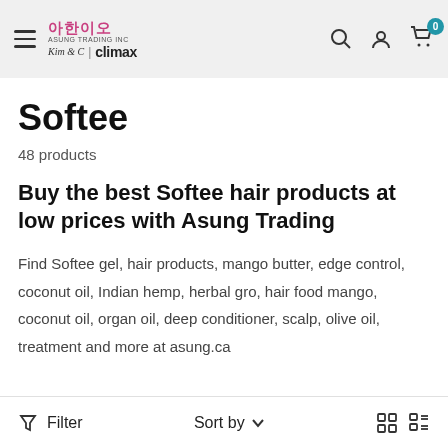Asung Trading Inc | climax — navigation header with hamburger menu, logo, search, user, and cart icons
Softee
48 products
Buy the best Softee hair products at low prices with Asung Trading
Find Softee gel, hair products, mango butter, edge control, coconut oil, Indian hemp, herbal gro, hair food mango, coconut oil, organ oil, deep conditioner, scalp, olive oil, treatment and more at asung.ca
Filter  Sort by  [grid view icons]